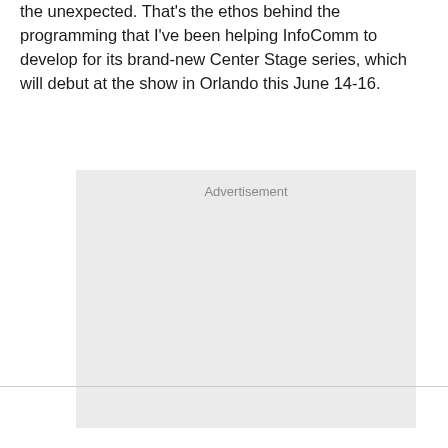the unexpected. That's the ethos behind the programming that I've been helping InfoComm to develop for its brand-new Center Stage series, which will debut at the show in Orlando this June 14-16.
[Figure (other): Advertisement placeholder box with light gray background and 'Advertisement' label at top center]